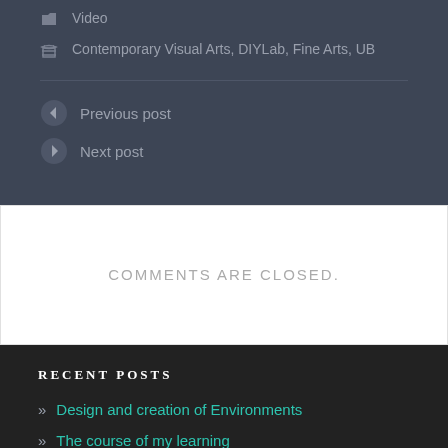Video
Contemporary Visual Arts, DIYLab, Fine Arts, UB
Previous post
Next post
COMMENTS ARE CLOSED.
RECENT POSTS
» Design and creation of Environments
» The course of my learning
» My learning path